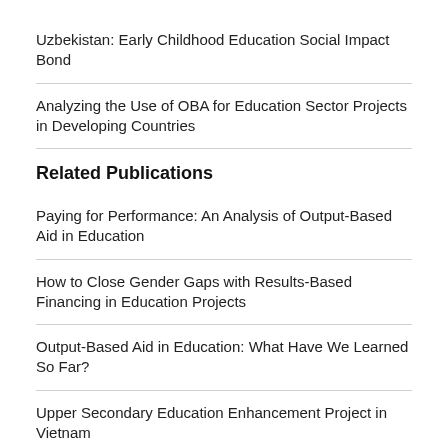Uzbekistan: Early Childhood Education Social Impact Bond
Analyzing the Use of OBA for Education Sector Projects in Developing Countries
Related Publications
Paying for Performance: An Analysis of Output-Based Aid in Education
How to Close Gender Gaps with Results-Based Financing in Education Projects
Output-Based Aid in Education: What Have We Learned So Far?
Upper Secondary Education Enhancement Project in Vietnam
Featured